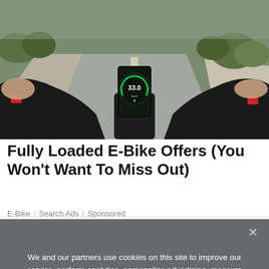[Figure (photo): First-person view from an e-bike handlebar showing the road ahead, a digital speedometer display reading 33.0 speed and level 4, handlebars with controls, suburban road with trees in background]
Fully Loaded E-Bike Offers (You Won't Want To Miss Out)
E-Bike | Search Ads | Sponsored
We and our partners use cookies on this site to improve our service, perform analytics, personalize advertising, measure advertising performance, and remember website preferences.
Ok